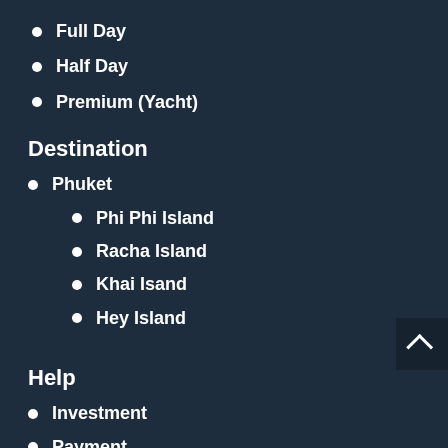Full Day
Half Day
Premium (Yacht)
Destination
Phuket
Phi Phi Island
Racha Island
Khai Isand
Hey Island
Help
Investment
Payment
How to buy